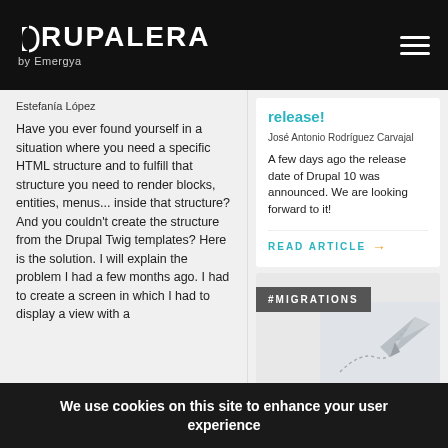DRUPALERA by Emergya
Estefanía López
Have you ever found yourself in a situation where you need a specific HTML structure and to fulfill that structure you need to render blocks, entities, menus... inside that structure? And you couldn't create the structure from the Drupal Twig templates? Here is the solution. I will explain the problem I had a few months ago. I had to create a screen in which I had to display a view with a
release!
José Antonio Rodríguez Carvajal
A few days ago the release date of Drupal 10 was announced. We are looking forward to it!
READ ARTICLE →
[Figure (illustration): Dark grey banner with #MIGRATIONS label and a paper plane illustration with dotted trail on light grey background]
We use cookies on this site to enhance your user experience